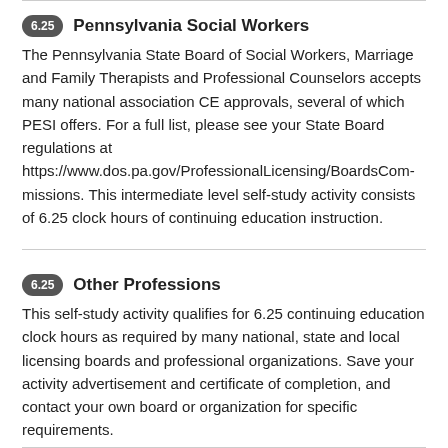6.25 Pennsylvania Social Workers
The Pennsylvania State Board of Social Workers, Marriage and Family Therapists and Professional Counselors accepts many national association CE approvals, several of which PESI offers. For a full list, please see your State Board regulations at https://www.dos.pa.gov/ProfessionalLicensing/BoardsCommissions. This intermediate level self-study activity consists of 6.25 clock hours of continuing education instruction.
6.25 Other Professions
This self-study activity qualifies for 6.25 continuing education clock hours as required by many national, state and local licensing boards and professional organizations. Save your activity advertisement and certificate of completion, and contact your own board or organization for specific requirements.